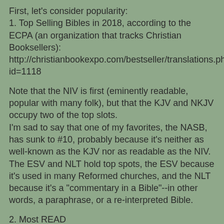First, let's consider popularity:
1. Top Selling Bibles in 2018, according to the ECPA (an organization that tracks Christian Booksellers): http://christianbookexpo.com/bestseller/translations.php?id=1118
Note that the NIV is first (eminently readable, popular with many folk), but that the KJV and NKJV occupy two of the top slots.
I'm sad to say that one of my favorites, the NASB, has sunk to #10, probably because it's neither as well-known as the KJV nor as readable as the NIV. The ESV and NLT hold top spots, the ESV because it's used in many Reformed churches, and the NLT because it's a "commentary in a Bible"--in other words, a paraphrase, or a re-interpreted Bible.
2. Most READ
Bible: https://www.statista.com/statistics/299402/preferred-bible-version-usa/
Interesting facts. The KJV is still the most read Bible in the